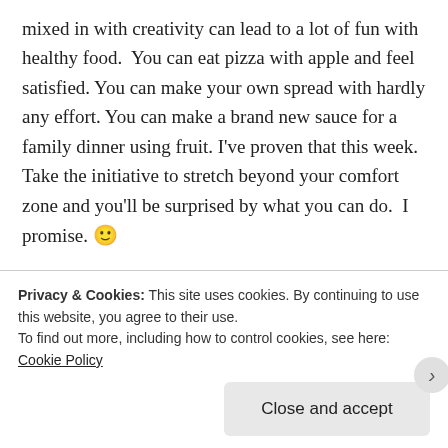mixed in with creativity can lead to a lot of fun with healthy food.  You can eat pizza with apple and feel satisfied. You can make your own spread with hardly any effort. You can make a brand new sauce for a family dinner using fruit. I've proven that this week.  Take the initiative to stretch beyond your comfort zone and you'll be surprised by what you can do.  I promise. 🙂
[Figure (other): Automattic advertisement banner: AUTOMATTIC logo with orange O, tagline 'Build a better web and a better world.']
REPORT THIS AD
So tell me folks: what did you think of apple week? Did you
Privacy & Cookies: This site uses cookies. By continuing to use this website, you agree to their use.
To find out more, including how to control cookies, see here: Cookie Policy
Close and accept